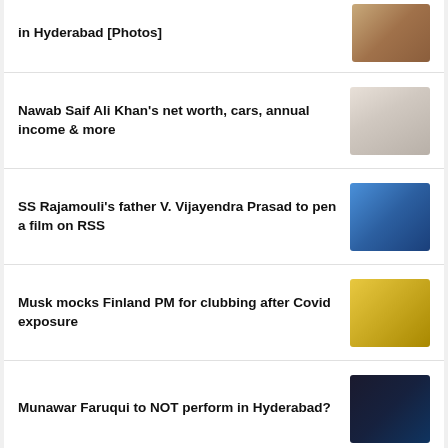in Hyderabad [Photos]
Nawab Saif Ali Khan's net worth, cars, annual income & more
SS Rajamouli's father V. Vijayendra Prasad to pen a film on RSS
Musk mocks Finland PM for clubbing after Covid exposure
Munawar Faruqui to NOT perform in Hyderabad?